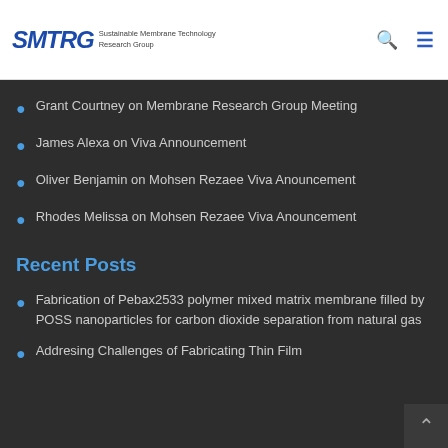SMTRG Sustainable Membrane Technology Research Group
Grant Courtney on Membrane Research Group Meeting
James Alexa on Viva Announcement
Oliver Benjamin on Mohsen Rezaee Viva Anouncement
Rhodes Melissa on Mohsen Rezaee Viva Anouncement
Recent Posts
Fabrication of Pebax2533 polymer mixed matrix membrane filled by POSS nanoparticles for carbon dioxide separation from natural gas
Addresing Challenges of Fabricating Thin Film